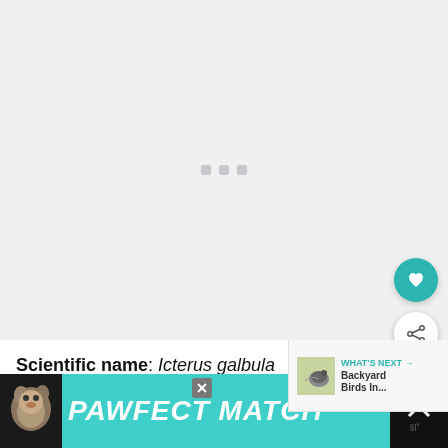[Figure (photo): Large image placeholder area with light gray background and three small gray loading indicator squares in the center]
[Figure (infographic): WHAT'S NEXT arrow label with bird thumbnail and text: Backyard Birds In...]
Scientific name: Icterus galbula
Length: 6.7-7.5 in
[Figure (photo): PAWFECT MATCH advertisement banner with dog image on teal background]